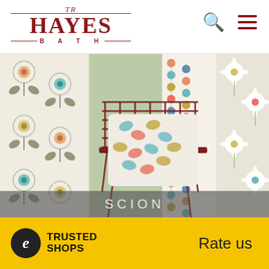[Figure (logo): TR Hayes Bath logo in dark red serif font with horizontal lines above and below]
[Figure (photo): Interior design photo showing Scion brand wallpapers with floral/geometric patterns in teal, orange, mustard yellow on cream backgrounds, with a red wire chair and patterned cushion in the foreground]
SCION
[Figure (logo): Trusted Shops logo - black circle with white italic e, next to bold text TRUSTED SHOPS on yellow background, with Rate us text on the right]